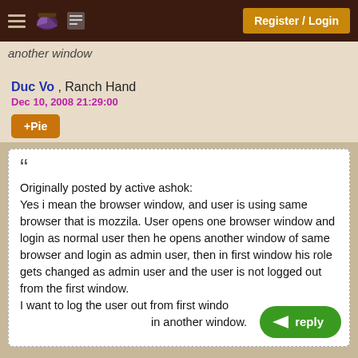another window | Register / Login
Duc Vo , Ranch Hand
Dec 10, 2008 21:29:00
+Pie
Originally posted by active ashok:
Yes i mean the browser window, and user is using same browser that is mozzila. User opens one browser window and login as normal user then he opens another window of same browser and login as admin user, then in first window his role gets changed as admin user and the user is not logged out from the first window.
I want to log the user out from first window when he logs in another window.